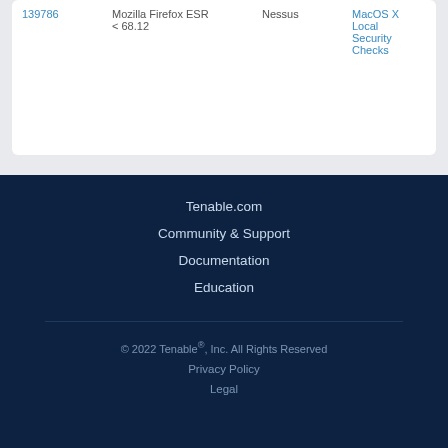| 139786 | Mozilla Firefox ESR < 68.12 | Nessus | MacOS X Local Security Checks |
Tenable.com
Community & Support
Documentation
Education
© 2022 Tenable®, Inc. All Rights Reserved
Privacy Policy
Legal